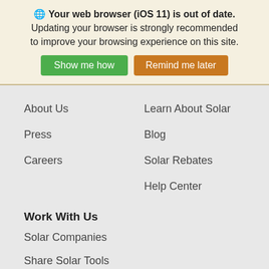🌐 Your web browser (iOS 11) is out of date. Updating your browser is strongly recommended to improve your browsing experience on this site.
Show me how | Remind me later
About Us
Learn About Solar
Press
Blog
Careers
Solar Rebates
Help Center
Work With Us
Solar Companies
Share Solar Tools
Market Research
Refer a Friend